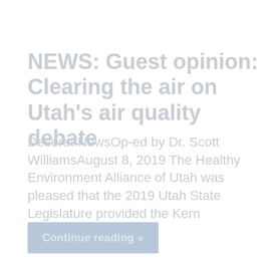NEWS: Guest opinion: Clearing the air on Utah's air quality debate
Deseret NewsOp-ed by Dr. Scott WilliamsAugust 8, 2019 The Healthy Environment Alliance of Utah was pleased that the 2019 Utah State Legislature provided the Kern
Continue reading »